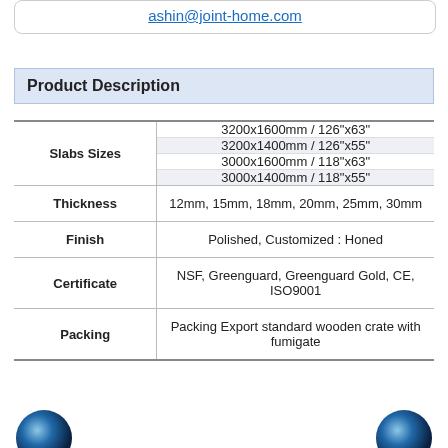ashin@joint-home.com
Product Description
|  |  |
| --- | --- |
| Slabs Sizes | 3200x1600mm / 126"x63"
3200x1400mm / 126"x55"
3000x1600mm / 118"x63"
3000x1400mm / 118"x55" |
| Thickness | 12mm, 15mm, 18mm, 20mm, 25mm, 30mm |
| Finish | Polished, Customized : Honed |
| Certificate | NSF, Greenguard, Greenguard Gold, CE, ISO9001 |
| Packing | Packing Export standard wooden crate with fumigate |
[Figure (photo): Partial circular logo/image at bottom left]
[Figure (photo): Partial circular logo/image at bottom right]